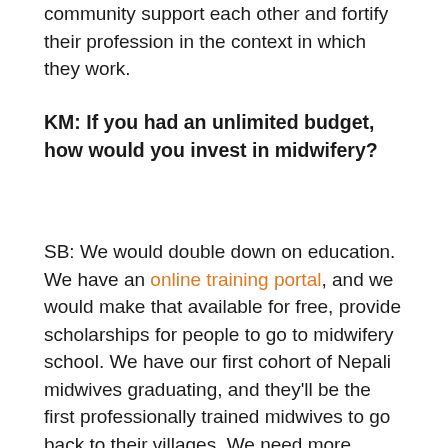community support each other and fortify their profession in the context in which they work.
KM: If you had an unlimited budget, how would you invest in midwifery?
SB: We would double down on education. We have an online training portal, and we would make that available for free, provide scholarships for people to go to midwifery school. We have our first cohort of Nepali midwives graduating, and they'll be the first professionally trained midwives to go back to their villages. We need more midwives trained, and then we need to support their inclusion in the health care system and work with